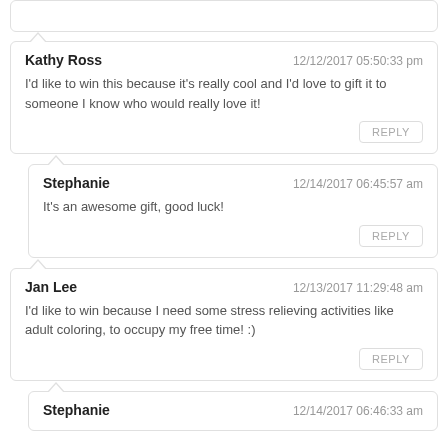Kathy Ross — 12/12/2017 05:50:33 pm
I'd like to win this because it's really cool and I'd love to gift it to someone I know who would really love it!
Stephanie — 12/14/2017 06:45:57 am
It's an awesome gift, good luck!
Jan Lee — 12/13/2017 11:29:48 am
I'd like to win because I need some stress relieving activities like adult coloring, to occupy my free time! :)
Stephanie — 12/14/2017 06:46:33 am